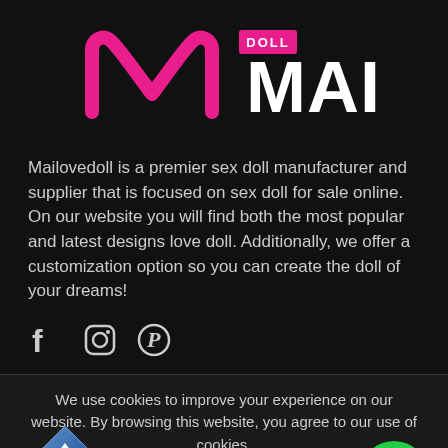[Figure (logo): Mailovedoll logo: pink M-shape icon with MAILOVE text in white and DOLL label in pink]
Mailovedoll is a premier sex doll manufacturer and supplier that is focused on sex doll for sale online. On our website you will find both the most popular and latest designs love doll. Additionally, we offer a customization option so you can create the doll of your dreams!
[Figure (other): Social media icons: Facebook, Instagram, Pinterest]
We use cookies to improve your experience on our website. By browsing this website, you agree to our use of cookies.
[Figure (other): Back to top button: blue diamond shape with upward arrow and 'Back to top' text]
ACCEPT
[Figure (other): Green circle chat button with chat bubble icon]